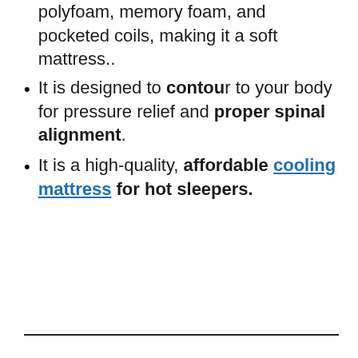polyfoam, memory foam, and pocketed coils, making it a soft mattress..
It is designed to contour to your body for pressure relief and proper spinal alignment.
It is a high-quality, affordable cooling mattress for hot sleepers.